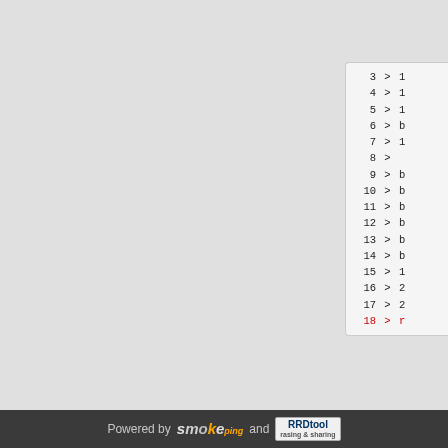[Figure (screenshot): Code listing panel on right side showing numbered lines 3-18 with '>' arrows and truncated content. Line 18 is highlighted in red.]
[Figure (screenshot): Second partial code listing panel on right side showing numbered lines 3-7 with '>' arrows and truncated content.]
Powered by smokeping and RRDtool